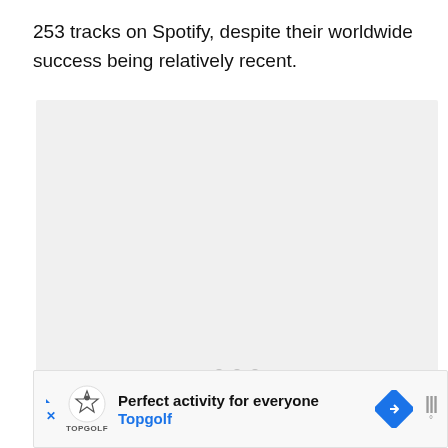253 tracks on Spotify, despite their worldwide success being relatively recent.
[Figure (other): A large light gray placeholder image area with three small gray dots centered near the bottom, indicating a loading or empty image state.]
[Figure (other): Advertisement banner for Topgolf. Contains a play button icon, Topgolf shield logo, text 'Perfect activity for everyone', blue 'Topgolf' link, a blue diamond navigation/map pin icon, and signal bars with degree symbol on the right.]